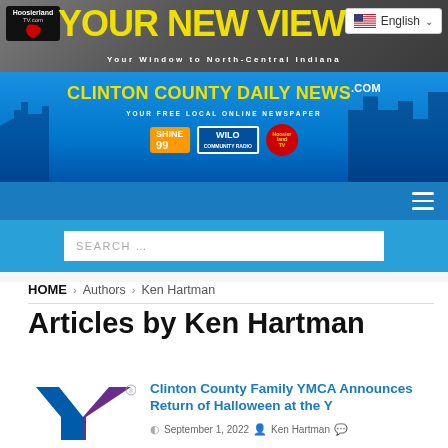[Figure (screenshot): Hoosierland TV website header banner reading YOUR NEW VIEW with tagline Your Window to North-Central Indiana on dark textured background]
[Figure (screenshot): Clinton County Daily News banner with yellow title text on blue background, showing radio logos SHINE 99, WILO, and Hoosierland TV]
[Figure (infographic): Navigation bar with hamburger menu icon on blue background]
[Figure (screenshot): Search bar on blue background with placeholder text SEARCH ...]
HOME > Authors > Ken Hartman
Articles by Ken Hartman
[Figure (logo): YMCA logo with blue and purple Y shape on white background]
Clinton County Family YMCA Announces Return of Halloween at the Y
September 1, 2022  Ken Hartman